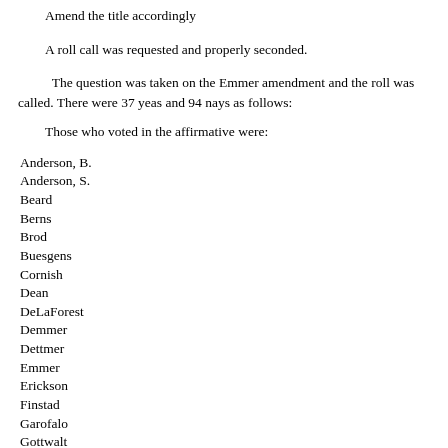Amend the title accordingly
A roll call was requested and properly seconded.
The question was taken on the Emmer amendment and the roll was called. There were 37 yeas and 94 nays as follows:
Those who voted in the affirmative were:
Anderson, B.
Anderson, S.
Beard
Berns
Brod
Buesgens
Cornish
Dean
DeLaForest
Demmer
Dettmer
Emmer
Erickson
Finstad
Garofalo
Gottwalt
Hackbarth
Heidgerken